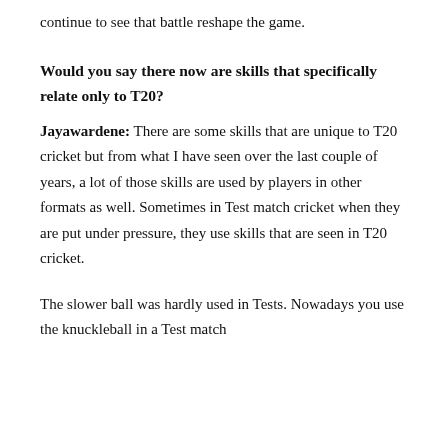continue to see that battle reshape the game.
Would you say there now are skills that specifically relate only to T20?
Jayawardene: There are some skills that are unique to T20 cricket but from what I have seen over the last couple of years, a lot of those skills are used by players in other formats as well. Sometimes in Test match cricket when they are put under pressure, they use skills that are seen in T20 cricket.
The slower ball was hardly used in Tests. Nowadays you use the knuckleball in a Test match